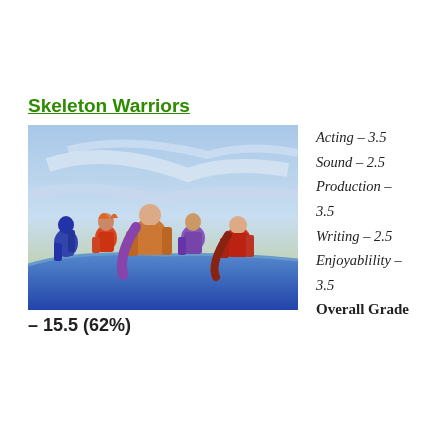Skeleton Warriors
[Figure (photo): Animated cartoon screenshot showing a group of colorful superhero-like characters standing together against a blue sky background, from the animated series Skeleton Warriors.]
Acting – 3.5
Sound – 2.5
Production – 3.5
Writing – 2.5
Enjoyablility – 3.5
Overall Grade
– 15.5 (62%)